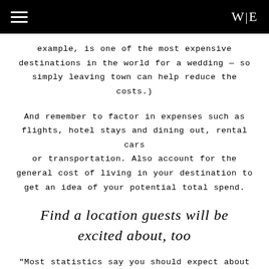W|E
example, is one of the most expensive destinations in the world for a wedding — so simply leaving town can help reduce the costs.)
And remember to factor in expenses such as flights, hotel stays and dining out, rental cars or transportation. Also account for the general cost of living in your destination to get an idea of your potential total spend.
Find a location guests will be excited about, too
"Most statistics say you should expect about